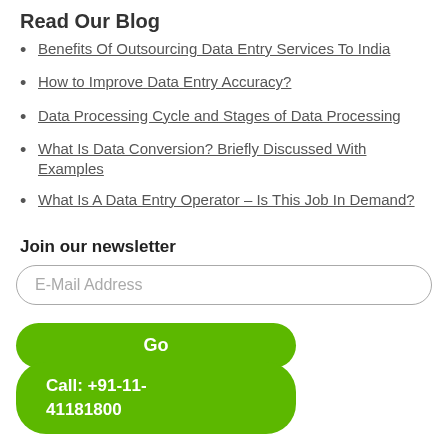Read Our Blog
Benefits Of Outsourcing Data Entry Services To India
How to Improve Data Entry Accuracy?
Data Processing Cycle and Stages of Data Processing
What Is Data Conversion? Briefly Discussed With Examples
What Is A Data Entry Operator – Is This Job In Demand?
Join our newsletter
E-Mail Address
Go
Call: +91-11-41181800